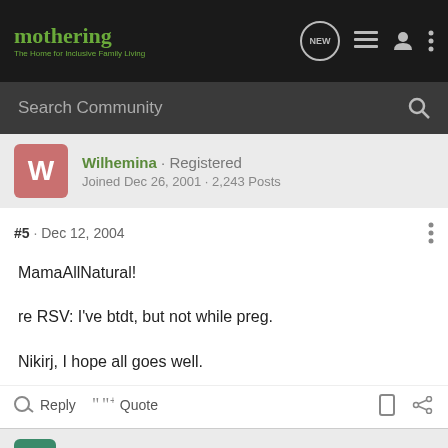mothering · The Home for Inclusive Family Living
Search Community
Wilhemina · Registered
Joined Dec 26, 2001 · 2,243 Posts
#5 · Dec 12, 2004
MamaAllNatural!

re RSV: I've btdt, but not while preg.

Nikirj, I hope all goes well.
Reply   Quote
thepeach80 · Registered